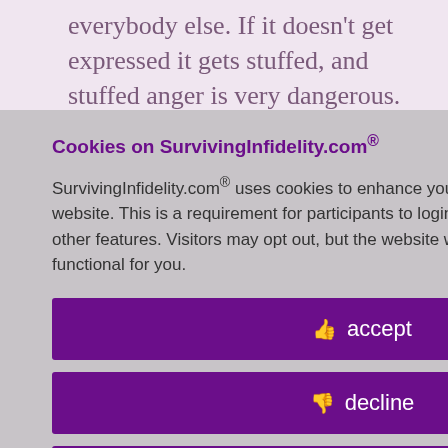everybody else. If it doesn't get expressed it gets stuffed, and stuffed anger is very dangerous. So I
Cookies on SurvivingInfidelity.com®
SurvivingInfidelity.com® uses cookies to enhance your visit to our website. This is a requirement for participants to login, post and use other features. Visitors may opt out, but the website will be less functional for you.
accept
decline
about cookies
W that I was satisfaction I'm furious that ct) helped a and and take need her.
ogether 45, same
s. You just have to
Policy